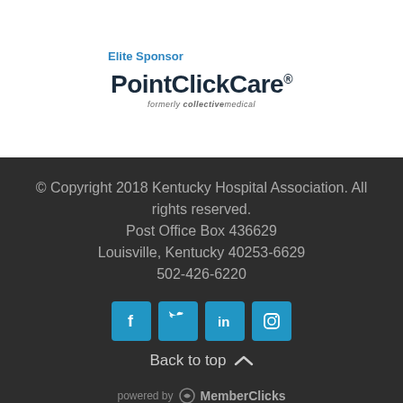Elite Sponsor
[Figure (logo): PointClickCare logo with tagline 'formerly collectivemedical']
© Copyright 2018 Kentucky Hospital Association. All rights reserved.
Post Office Box 436629
Louisville, Kentucky 40253-6629
502-426-6220
[Figure (infographic): Social media icons: Facebook, Twitter, LinkedIn, Instagram]
Back to top
powered by MemberClicks